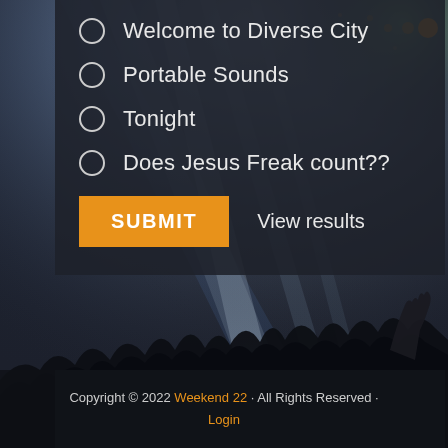Welcome to Diverse City
Portable Sounds
Tonight
Does Jesus Freak count??
SUBMIT   View results
[Figure (photo): Concert crowd silhouette with blue and white stage light beams, raising hands, dark background with bokeh lights]
Copyright © 2022 Weekend 22 · All Rights Reserved · Login